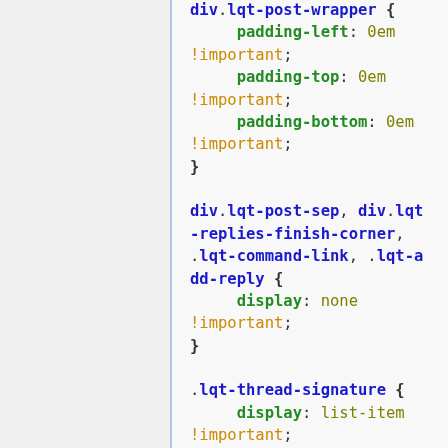[Figure (screenshot): Syntax-highlighted CSS code snippet showing rules for div.lqt-post-wrapper, div.lqt-post-sep, div.lqt-replies-finish-corner, .lqt-command-link, .lqt-add-reply, and .lqt-thread-signature selectors with various !important declarations.]